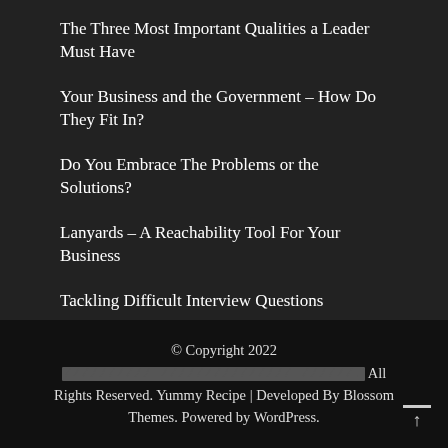The Three Most Important Qualities a Leader Must Have
Your Business and the Government – How Do They Fit In?
Do You Embrace The Problems or the Solutions?
Lanyards – A Reachability Tool For Your Business
Tackling Difficult Interview Questions
© Copyright 2022 [REDACTED]. All Rights Reserved. Yummy Recipe | Developed By Blossom Themes. Powered by WordPress.